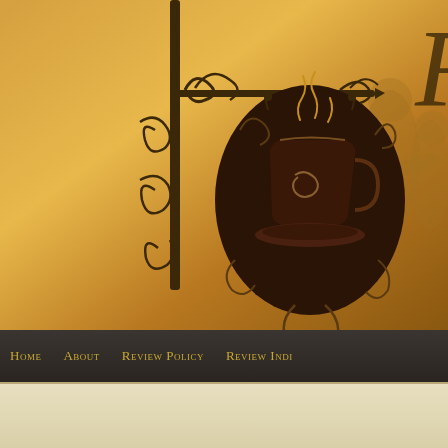[Figure (illustration): Website header banner with golden-brown gradient background, decorative wrought-iron style sign bracket with scrollwork and a steaming coffee cup medallion in dark brown, partial silhouette of two people on the right, and large italic letter F visible top right]
Home   About   Review Policy   Review Indi
Tags: The Defiant Heir